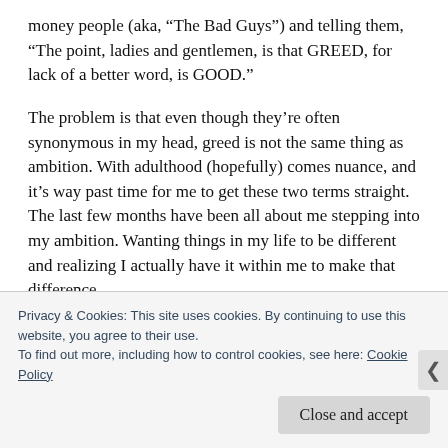money people (aka, “The Bad Guys”) and telling them, “The point, ladies and gentlemen, is that GREED, for lack of a better word, is GOOD.”
The problem is that even though they’re often synonymous in my head, greed is not the same thing as ambition. With adulthood (hopefully) comes nuance, and it’s way past time for me to get these two terms straight. The last few months have been all about me stepping into my ambition. Wanting things in my life to be different and realizing I actually have it within me to make that difference
Privacy & Cookies: This site uses cookies. By continuing to use this website, you agree to their use.
To find out more, including how to control cookies, see here: Cookie Policy
Close and accept